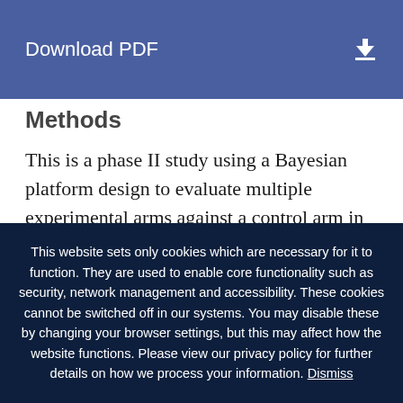Download PDF
Methods
This is a phase II study using a Bayesian platform design to evaluate multiple experimental arms against a control arm in patients with PDAC. We first separate patients into three clinical stage groups of localized PDAC (resectable, borderline resectable, and locally advanced
This website sets only cookies which are necessary for it to function. They are used to enable core functionality such as security, network management and accessibility. These cookies cannot be switched off in our systems. You may disable these by changing your browser settings, but this may affect how the website functions. Please view our privacy policy for further details on how we process your information. Dismiss